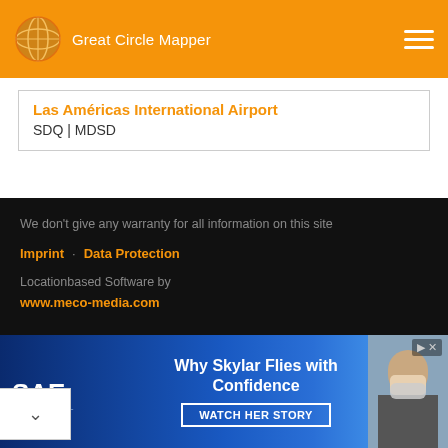Great Circle Mapper
Las Américas International Airport
SDQ | MDSD
We don't give any warranty for all information on this site
Imprint · Data Protection
Locationbased Software by
www.meco-media.com
[Figure (screenshot): Facebook 'Gefällt mir' (Like) button with count 3]
[Figure (photo): SAE International advertisement banner: 'Why Skylar Flies with Confidence' with WATCH HER STORY CTA button and photo of masked woman at airport]